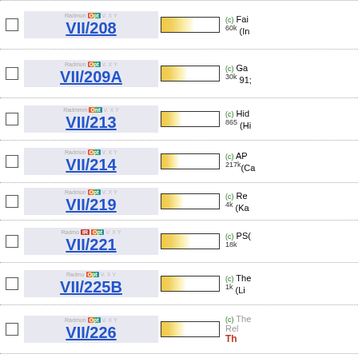VII/208 (c) 60k Fai (In
VII/209A (c) 30k Ga 91;
VII/213 (c) 865 Hid (Hi
VII/214 (c) 217k AP (Ca
VII/219 (c) 4k Re (Ka
VII/221 IR (c) 18k PS(
VII/225B (c) 1k The (Li
VII/226 (c) The Re Th
VII/228 IR (c) 59k Las 200
Int (c)